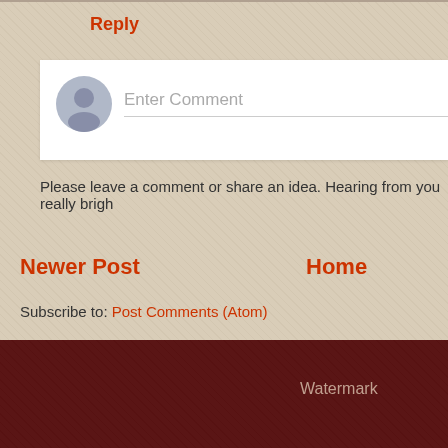Reply
[Figure (other): Comment input box with avatar icon and placeholder text 'Enter Comment']
Please leave a comment or share an idea. Hearing from you really brigh
Newer Post
Home
Subscribe to: Post Comments (Atom)
Watermark